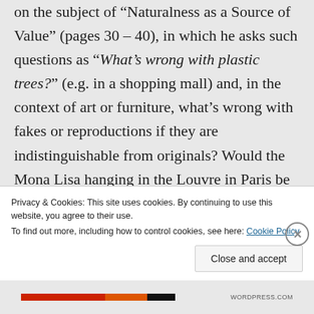on the subject of “Naturalness as a Source of Value” (pages 30 – 40), in which he asks such questions as “What’s wrong with plastic trees?” (e.g. in a shopping mall) and, in the context of art or furniture, what’s wrong with fakes or reproductions if they are indistinguishable from originals? Would the Mona Lisa hanging in the Louvre in Paris be any less magnificent as a piece of artwork if it could be proven that Leonardo
Privacy & Cookies: This site uses cookies. By continuing to use this website, you agree to their use.
To find out more, including how to control cookies, see here: Cookie Policy